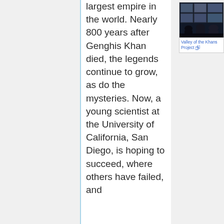largest empire in the world. Nearly 800 years after Genghis Khan died, the legends continue to grow, as do the mysteries. Now, a young scientist at the University of California, San Diego, is hoping to succeed, where others have failed, and
[Figure (photo): Three people viewed from behind looking at a large wall of video monitors showing outdoor/satellite imagery. Dark room setting.]
Valley of the Khans Project